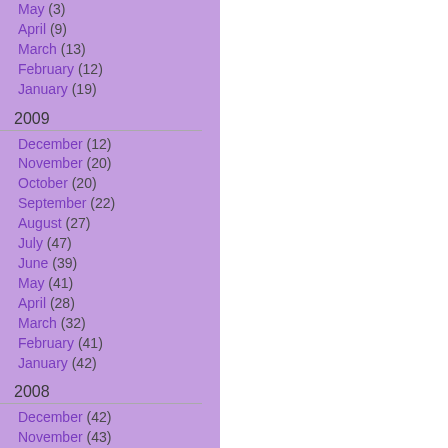May (3)
April (9)
March (13)
February (12)
January (19)
2009
December (12)
November (20)
October (20)
September (22)
August (27)
July (47)
June (39)
May (41)
April (28)
March (32)
February (41)
January (42)
2008
December (42)
November (43)
October (47)